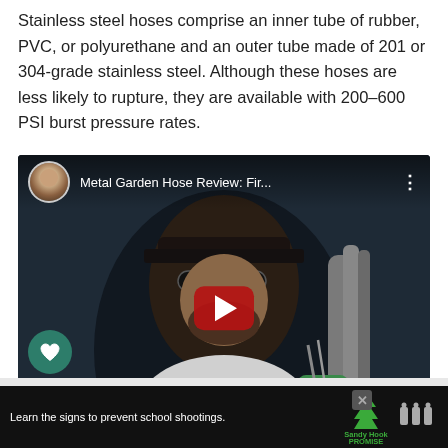Stainless steel hoses comprise an inner tube of rubber, PVC, or polyurethane and an outer tube made of 201 or 304-grade stainless steel. Although these hoses are less likely to rupture, they are available with 200–600 PSI burst pressure rates.
[Figure (screenshot): Embedded YouTube video thumbnail showing a man with sunglasses and beard holding a stainless steel garden hose. Video title reads 'Metal Garden Hose Review: Fir...' with a red play button in the center. A like (heart) button and share button appear on the left side. A 'What's Next' overlay at the bottom shows '7 Solid Tips To Keep Leaf...' with a thumbnail image.]
[Figure (screenshot): Advertisement bar at the bottom of the page with dark background. Text reads 'Learn the signs to prevent school shootings.' with Sandy Hook Promise logo (green tree) and another logo on the right. An X close button appears in the upper right area of the ad.]